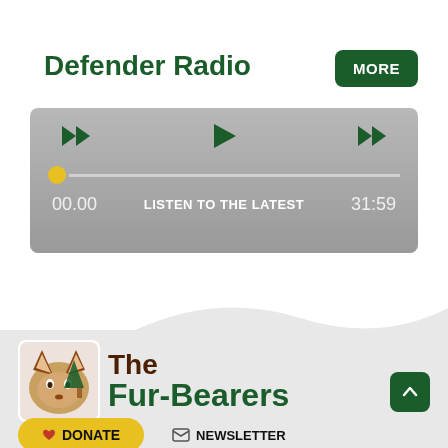Defender Radio
[Figure (screenshot): Audio player widget with rewind, play, forward buttons, a progress bar with yellow dot at start, showing time 00.00 on left, LISTEN TO THE LATEST in center, 31:59 on right, on a grey background]
[Figure (logo): The Fur-Bearers logo with a fox face icon and tree, text reading The Fur-Bearers in brown and green]
DONATE
NEWSLETTER